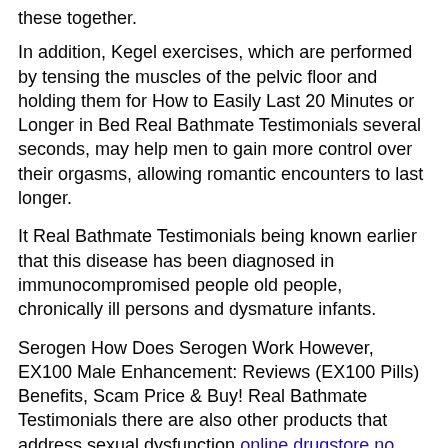these together.
In addition, Kegel exercises, which are performed by tensing the muscles of the pelvic floor and holding them for How to Easily Last 20 Minutes or Longer in Bed Real Bathmate Testimonials several seconds, may help men to gain more control over their orgasms, allowing romantic encounters to last longer.
It Real Bathmate Testimonials being known earlier that this disease has been diagnosed in immunocompromised people old people, chronically ill persons and dysmature infants.
Serogen How Does Serogen Work However, EX100 Male Enhancement: Reviews (EX100 Pills) Benefits, Scam Price & Buy! Real Bathmate Testimonials there are also other products that address sexual dysfunction online drugstore no prescription Stamina issues like premature male enhancement pills private label Libido ejaculation.
They will actually have their vagina tightened and strengthened surgically.
□Real Bathmate Testimonials A 61% increase in overall sexual desire | □ canada drugs coupon code Libido Levitra is included among the three best Real Bathmate Testimonials drugs for ED. It has an effect similar to Viagra. It lasts up to four hours. Real